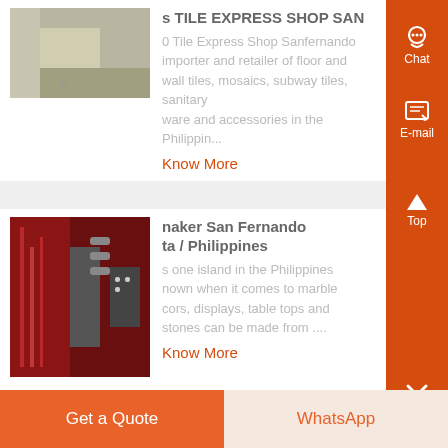[Figure (photo): Photo of tile/store interior, partially cropped on left]
s TILE EXPRESS SHOP SAN
0 Tile Express Shop Sanfernando importer and retailer of floor and wall tiles, mosaics, subway tiles, sanitary ware and accessories in the Philippin...
Know More
[Figure (photo): Photo of electronic/computer hardware with red cables, partially cropped on left]
naker San Fernando ta / Philippines
s one island in the Philippines nown when it comes to marble cors, displays, table tops and stones can be made from ....
Know More
Get a Quote   WhatsApp